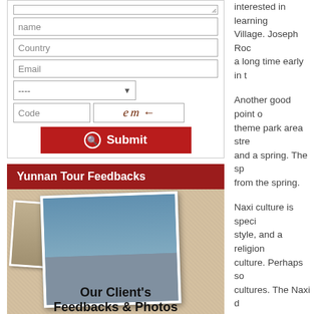[Figure (screenshot): Web form with fields for name, country, email, dropdown selector, CAPTCHA code field, and red Submit button]
Yunnan Tour Feedbacks
[Figure (photo): Collage photo with tourists group photo (two men and a woman with sunglasses) and smaller photo of an elderly person, with text 'Our Client's Feedbacks & Photos']
interested in learning... Village. Joseph Ro... a long time early in t...
Another good point o... theme park area stre... and a spring. The sp... from the spring.
Naxi culture is speci... style, and a religion ... culture. Perhaps so... cultures. The Naxi d... hieroglyphic (pictoria... Hieroglyphs were us... the people of Easter... Dongba writing syst... religion and their wri...